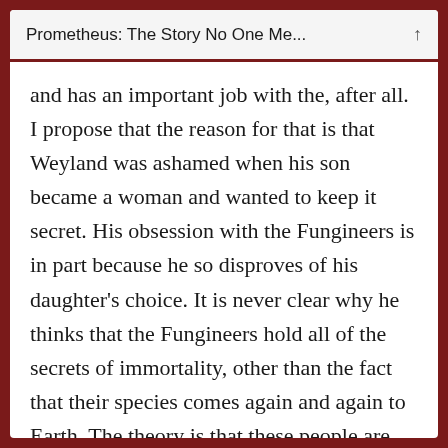Prometheus: The Story No One Me...
and has an important job with the, after all. I propose that the reason for that is that Weyland was ashamed when his son became a woman and wanted to keep it secret. His obsession with the Fungineers is in part because he so disproves of his daughter's choice. It is never clear why he thinks that the Fungineers hold all of the secrets of immortality, other than the fact that their species comes again and again to Earth. The theory is that these people are our creators though, and that they designed us with specific intentions. While it might be true that they hold the secret of immortality, the idea that they